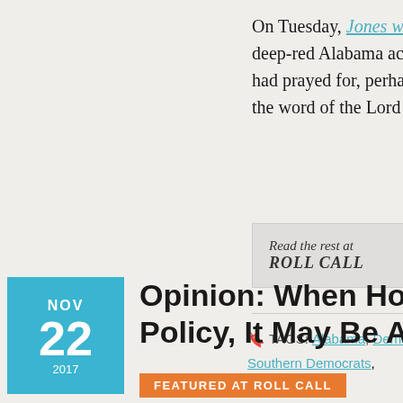On Tuesday, Jones won. The miracle of a Democrat winning deep-red Alabama actually happened. It was not the miracle many had prayed for, perhaps pointing out the danger when using the word of the Lord to divide.
Read the rest at ROLL CALL
TAGS: Alabama, Democrats, Donald Trump, Doug Jones, Southern Democrats, Steve Bannon
Opinion: When Holiday W... Policy, It May Be Awkwar...
FEATURED AT ROLL CALL